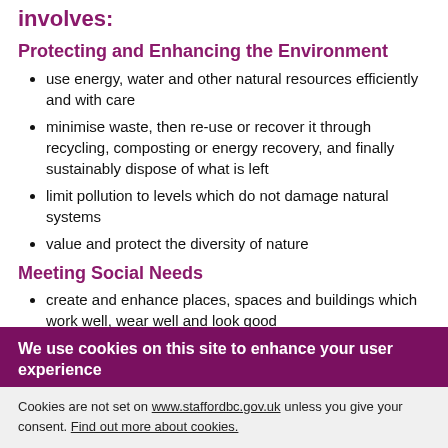involves:
Protecting and Enhancing the Environment
use energy, water and other natural resources efficiently and with care
minimise waste, then re-use or recover it through recycling, composting or energy recovery, and finally sustainably dispose of what is left
limit pollution to levels which do not damage natural systems
value and protect the diversity of nature
Meeting Social Needs
create and enhance places, spaces and buildings which work well, wear well and look good
make settlement 'human' in scale and form
We use cookies on this site to enhance your user experience
Cookies are not set on www.staffordbc.gov.uk unless you give your consent. Find out more about cookies.